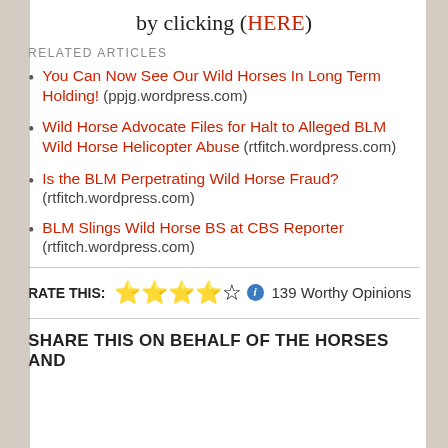by clicking (HERE)
RELATED ARTICLES
You Can Now See Our Wild Horses In Long Term Holding! (ppjg.wordpress.com)
Wild Horse Advocate Files for Halt to Alleged BLM Wild Horse Helicopter Abuse (rtfitch.wordpress.com)
Is the BLM Perpetrating Wild Horse Fraud? (rtfitch.wordpress.com)
BLM Slings Wild Horse BS at CBS Reporter (rtfitch.wordpress.com)
RATE THIS: ★★★★☆ ℹ 139 Worthy Opinions
SHARE THIS ON BEHALF OF THE HORSES AND